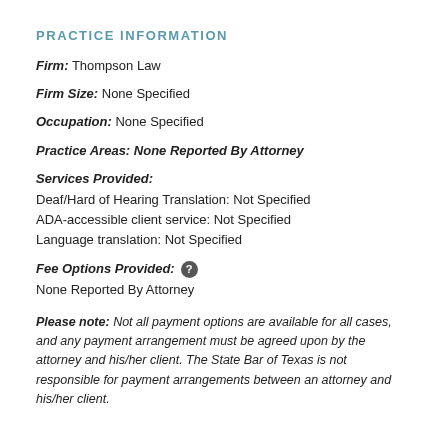PRACTICE INFORMATION
Firm: Thompson Law
Firm Size: None Specified
Occupation: None Specified
Practice Areas: None Reported By Attorney
Services Provided:
Deaf/Hard of Hearing Translation: Not Specified
ADA-accessible client service: Not Specified
Language translation: Not Specified
Fee Options Provided: [?]
None Reported By Attorney
Please note: Not all payment options are available for all cases, and any payment arrangement must be agreed upon by the attorney and his/her client. The State Bar of Texas is not responsible for payment arrangements between an attorney and his/her client.